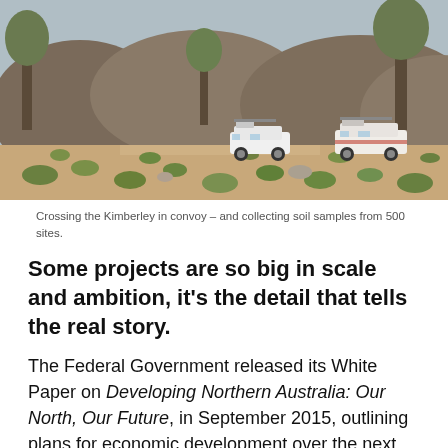[Figure (photo): Two white 4WD vehicles parked on a dirt road in the Kimberley region, surrounded by green spinifex grass clumps, large boulders, boab trees and rocky hills in the background.]
Crossing the Kimberley in convoy – and collecting soil samples from 500 sites.
Some projects are so big in scale and ambition, it's the detail that tells the real story.
The Federal Government released its White Paper on Developing Northern Australia: Our North, Our Future, in September 2015, outlining plans for economic development over the next two decades. Senator Matt Canavan, Minister for Resources and Northern